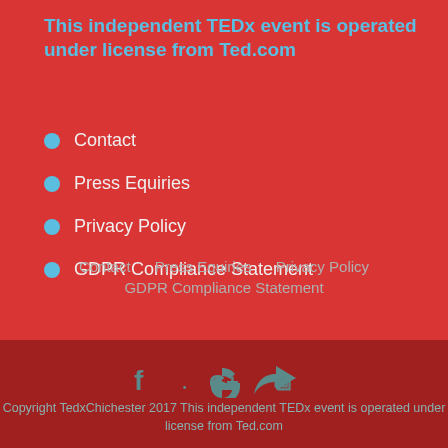This independent TEDx event is operated under license from Ted.com
Contact
Press Equiries
Privacy Policy
GDPR Compliance Statement
Contact  Press Equiries  Privacy Policy  GDPR Compliance Statement
Copyright TedxChichester 2017 This independent TEDx event is operated under license from Ted.com